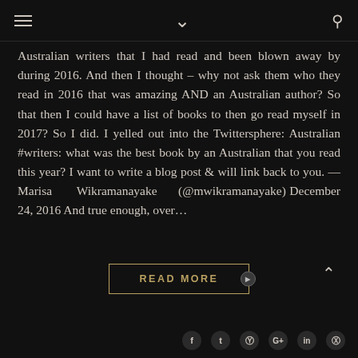☰ ˅ 🔍
Australian writers that I had read and been blown away by during 2016. And then I thought – why not ask them who they read in 2016 that was amazing AND an Australian author? So that then I could have a list of books to then go read myself in 2017? So I did. I yelled out into the Twittersphere: Australian #writers: what was the best book by an Australian that you read this year? I want to write a blog post & will link back to you. — Marisa Wikramanayake (@mwikramanayake) December 24, 2016 And true enough, over...
READ MORE
f  t  p  G+  in  reddit